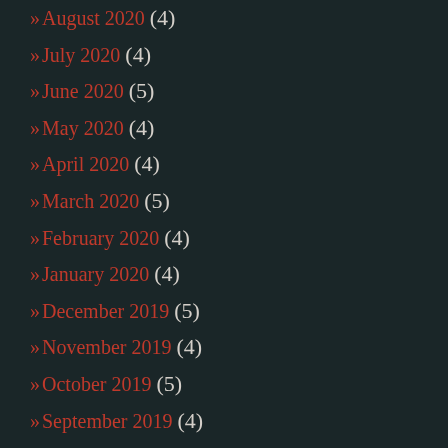» August 2020 (4)
» July 2020 (4)
» June 2020 (5)
» May 2020 (4)
» April 2020 (4)
» March 2020 (5)
» February 2020 (4)
» January 2020 (4)
» December 2019 (5)
» November 2019 (4)
» October 2019 (5)
» September 2019 (4)
» August 2019 (4)
» July 2019 (5)
» June 2019 (4)